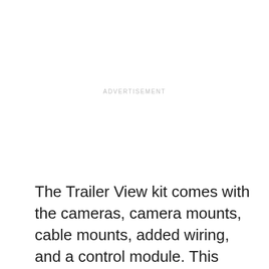ADVERTISEMENT
The Trailer View kit comes with the cameras, camera mounts, cable mounts, added wiring, and a control module. This system works up to 53 feet away from the truck cab. The system will also be available for use on Ram HD trucks, too.